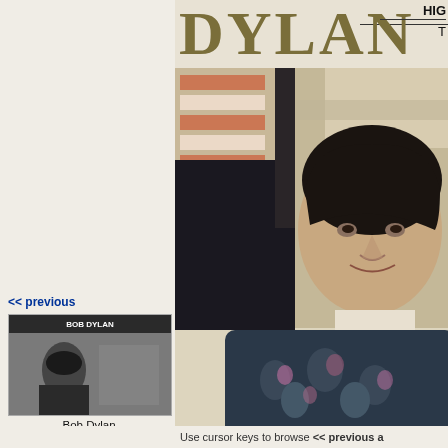[Figure (photo): Bob Dylan magazine or book cover showing DYLAN in large letters at top with a photograph of Bob Dylan's face and upper body]
HIG
T
<< previous
[Figure (photo): Small thumbnail image of Bob Dylan album cover with BOB DYLAN text visible]
Bob Dylan
The Classic
Interviews
1965-1966
UK
CD album
Use cursor keys to browse << previous a